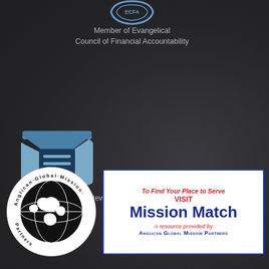[Figure (logo): ECFA logo - partial circle/shield at top, with text 'Member of Evangelical Council of Financial Accountability']
Member of Evangelical Council of Financial Accountability
[Figure (logo): Blue envelope icon with lines representing a letter inside]
Sign up for the SAMS Newsletter
[Figure (logo): Anglican Global Mission Partners circular logo - black and white globe with text around the circle]
[Figure (infographic): White box with blue border containing text: 'To Find Your Place to Serve VISIT Mission Match A resource provided by ANGLICAN GLOBAL MISSION PARTNERS']